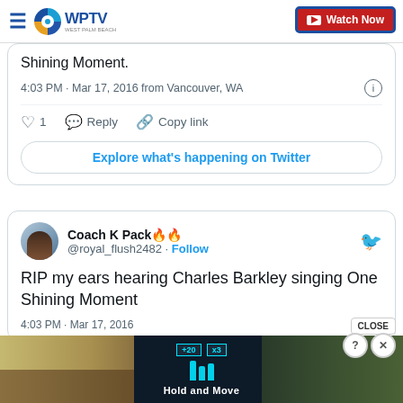WPTV | Watch Now
Shining Moment.
4:03 PM · Mar 17, 2016 from Vancouver, WA
♡ 1   Reply   Copy link
Explore what's happening on Twitter
Coach K Pack 🔥🔥
@royal_flush2482 · Follow
RIP my ears hearing Charles Barkley singing One Shining Moment
4:03 PM · Mar 17, 2016
[Figure (screenshot): Bottom advertisement overlay showing a mobile game with 'Hold and Move' text, player figures, score UI elements in blue/dark theme, with close button overlay]